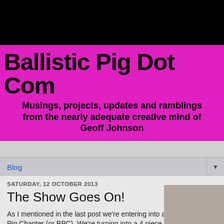[Figure (photo): Black top bar area of website screenshot]
Ballistic Pig Dot Com
Musings, projects, updates and ramblings from the nearly adequate creative mind of Geoff Johnson
Blog
SATURDAY, 12 OCTOBER 2013
The Show Goes On!
As I mentioned in the last post we're entering into a new Ballistic Pig Chapter (or BPC). We're turning into a 4 piece